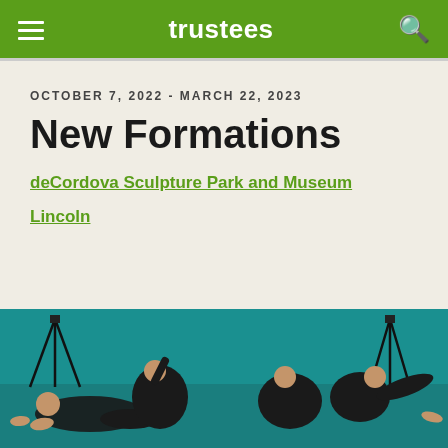trustees
OCTOBER 7, 2022 - MARCH 22, 2023
New Formations
deCordova Sculpture Park and Museum
Lincoln
[Figure (photo): Dancers in black leotards posing on a teal studio floor with camera tripods in the background]